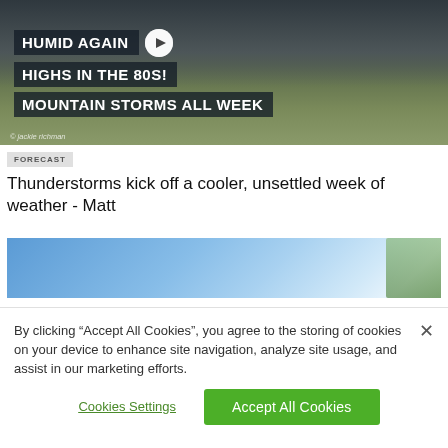[Figure (photo): Weather forecast video thumbnail with dark overlay text labels: 'HUMID AGAIN', 'HIGHS IN THE 80S!', 'MOUNTAIN STORMS ALL WEEK', with a play button icon. Background shows stormy sky over green fields. Photo credit: jackie richman]
FORECAST
Thunderstorms kick off a cooler, unsettled week of weather - Matt
[Figure (photo): Blue sky with wispy clouds and green foliage at right edge]
By clicking “Accept All Cookies”, you agree to the storing of cookies on your device to enhance site navigation, analyze site usage, and assist in our marketing efforts.
Cookies Settings
Accept All Cookies